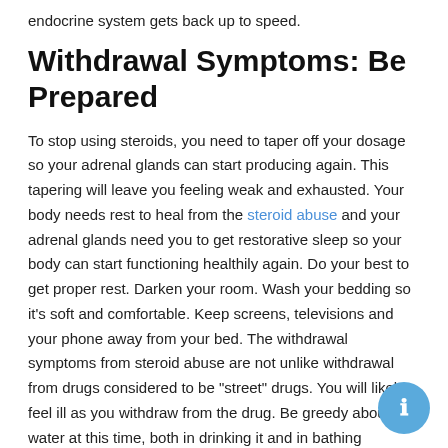endocrine system gets back up to speed.
Withdrawal Symptoms: Be Prepared
To stop using steroids, you need to taper off your dosage so your adrenal glands can start producing again. This tapering will leave you feeling weak and exhausted. Your body needs rest to heal from the steroid abuse and your adrenal glands need you to get restorative sleep so your body can start functioning healthily again. Do your best to get proper rest. Darken your room. Wash your bedding so it’s soft and comfortable. Keep screens, televisions and your phone away from your bed. The withdrawal symptoms from steroid abuse are not unlike withdrawal from drugs considered to be “street” drugs. You will likely feel ill as you withdraw from the drug. Be greedy about water at this time, both in drinking it and in bathing frequently to help your body purge itself of toxins.